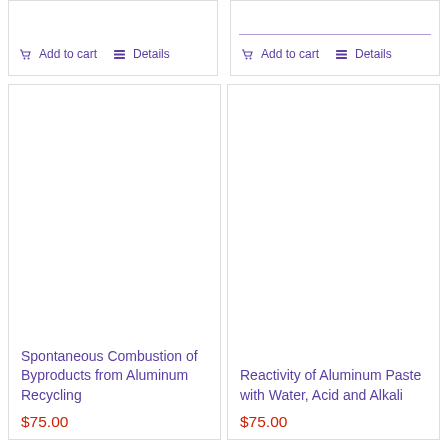Add to cart   Details
Add to cart   Details
Spontaneous Combustion of Byproducts from Aluminum Recycling
$75.00
Reactivity of Aluminum Paste with Water, Acid and Alkali
$75.00